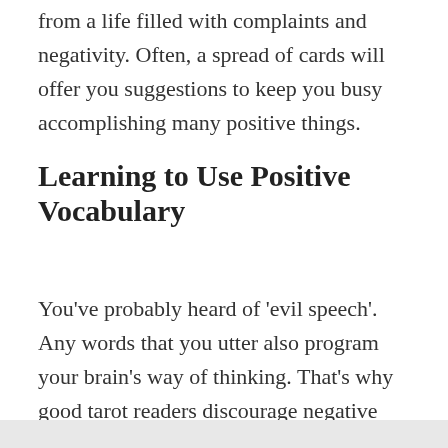from a life filled with complaints and negativity. Often, a spread of cards will offer you suggestions to keep you busy accomplishing many positive things.
Learning to Use Positive Vocabulary
You've probably heard of 'evil speech'. Any words that you utter also program your brain's way of thinking. That's why good tarot readers discourage negative talking.